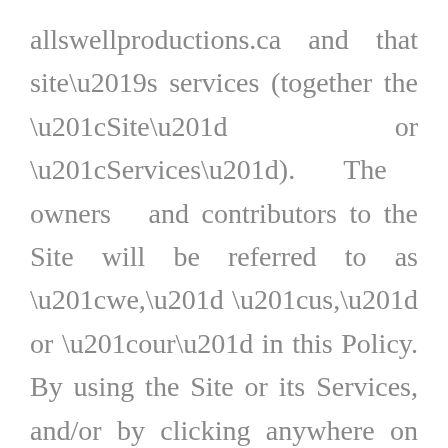allswellproductions.ca and that site’s services (together the “Site” or “Services”). The owners and contributors to the Site will be referred to as “we,” “us,” or “our” in this Policy. By using the Site or its Services, and/or by clicking anywhere on this Site to agree to the Terms and this Policy, you are deemed to be a “user” for purposes of this Policy. You and every other user (“you” or “User” as applicable) are subject to